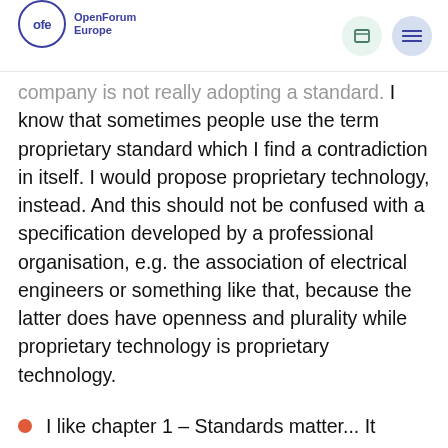ofe OpenForum Europe
company is not really adopting a standard. I know that sometimes people use the term proprietary standard which I find a contradiction in itself. I would propose proprietary technology, instead. And this should not be confused with a specification developed by a professional organisation, e.g. the association of electrical engineers or something like that, because the latter does have openness and plurality while proprietary technology is proprietary technology.
I like chapter 1 – Standards matter... It